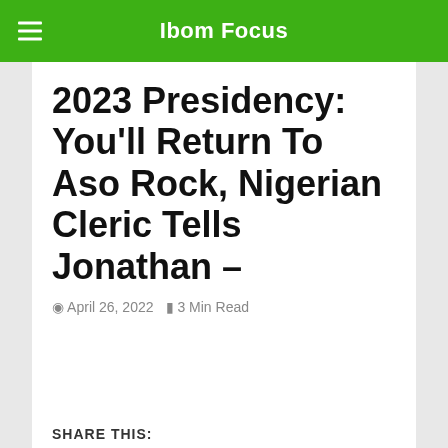Ibom Focus
2023 Presidency: You'll Return To Aso Rock, Nigerian Cleric Tells Jonathan –
April 26, 2022   3 Min Read
SHARE THIS:
[Figure (other): Social share buttons: Facebook, WhatsApp, Twitter, LinkedIn, SMS, More (green), More (blue)]